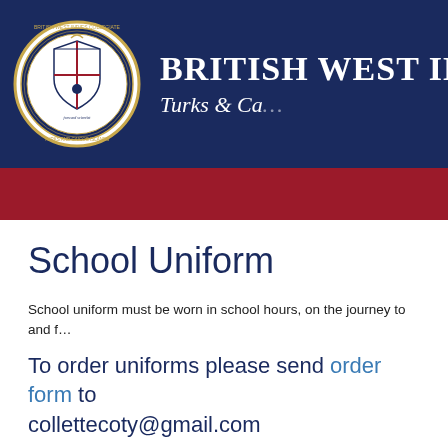[Figure (logo): British West Indies Collegiate school crest/logo — circular badge with shield, crown, and text around the border]
BRITISH WEST INDIES CO… Turks & Ca…
School Uniform
School uniform must be worn in school hours, on the journey to and f…
To order uniforms please send order form to collettecoty@gmail.com
Students wear their house shirts every Friday with jeans or shor…
A high standard of personal appearance is expected at all times.